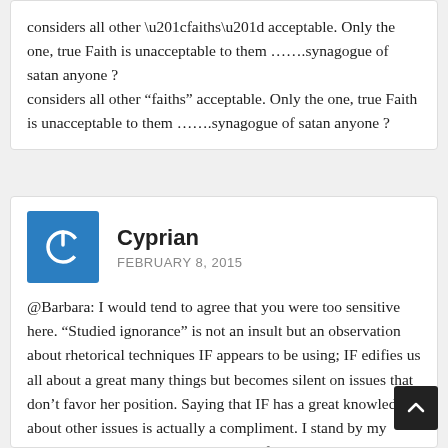considers all other “faiths” acceptable. Only the one, true Faith is unacceptable to them …….synagogue of satan anyone ?
Cyprian
FEBRUARY 8, 2015
@Barbara: I would tend to agree that you were too sensitive here. “Studied ignorance” is not an insult but an observation about rhetorical techniques IF appears to be using; IF edifies us all about a great many things but becomes silent on issues that don’t favor her position. Saying that IF has a great knowledge about other issues is actually a compliment. I stand by my position on the step-by-step analysis of her issues with the good priest’s observations because they struck me as mostly anecdotal and hence not really of any weight. The fact that she advanced them in all seriousness after she questioned the priest author’s integrity because